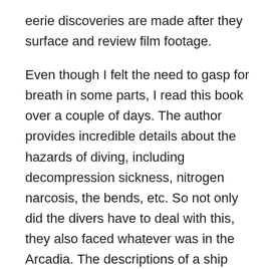eerie discoveries are made after they surface and review film footage.
Even though I felt the need to gasp for breath in some parts, I read this book over a couple of days. The author provides incredible details about the hazards of diving, including decompression sickness, nitrogen narcosis, the bends, etc. So not only did the divers have to deal with this, they also faced whatever was in the Arcadia. The descriptions of a ship that long at the bottom of the ocean reminded me of pictures I’ve seen of the Titanic, so you can imagine how atmospheric they are. With equipment malfunctioning – comms out, headlights and flashlights aren’t working – the terror the characters